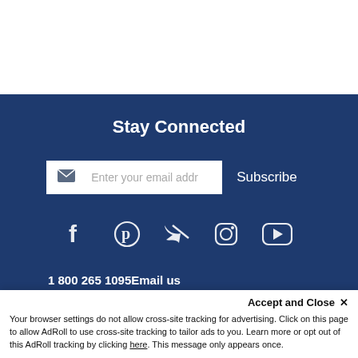Stay Connected
Enter your email address
Subscribe
[Figure (infographic): Social media icons row: Facebook, Pinterest, Twitter, Instagram, YouTube]
1 800 265 1095Email us
[Figure (infographic): Payment method badges: VISA, Mastercard, AMEX, PayPal, and one more]
Accept and Close ✕
Your browser settings do not allow cross-site tracking for advertising. Click on this page to allow AdRoll to use cross-site tracking to tailor ads to you. Learn more or opt out of this AdRoll tracking by clicking here. This message only appears once.